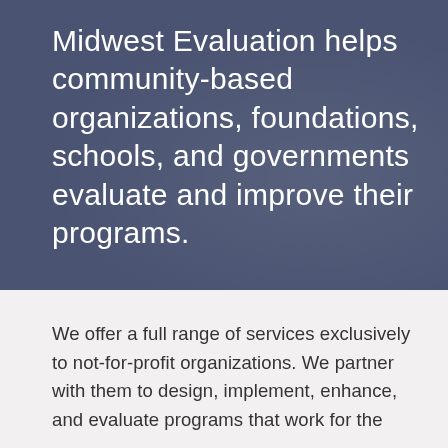Midwest Evaluation helps community-based organizations, foundations, schools, and governments evaluate and improve their programs.
We offer a full range of services exclusively to not-for-profit organizations. We partner with them to design, implement, enhance, and evaluate programs that work for the